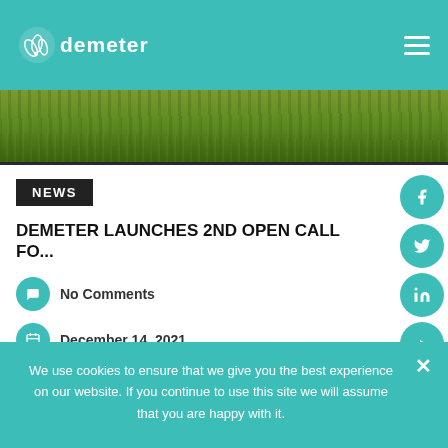demeter
[Figure (photo): Close-up photo of green rice or wheat crop field]
NEWS
DEMETER LAUNCHES 2ND OPEN CALL FO...
No Comments
December 14, 2021
The Horizon 2020 project, DEMETER, has announced
We use cookies to ensure that we give you the best experience on our website. If you continue to use this site we will assume that you are happy with it.